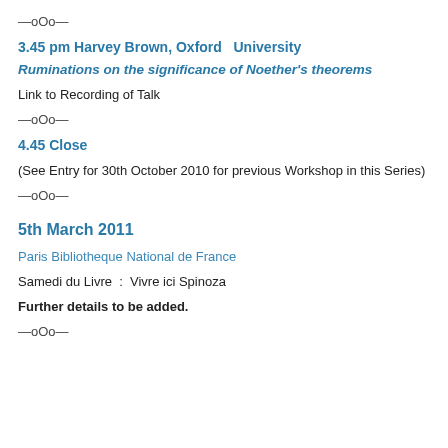—oOo—
3.45 pm Harvey Brown, Oxford  University
Ruminations on the significance of Noether's theorems
Link to Recording of Talk
—oOo—
4.45 Close
(See Entry for 30th October 2010 for previous Workshop in this Series)
—oOo—
5th March 2011
Paris Bibliotheque National de France
Samedi du Livre  :  Vivre ici Spinoza
Further details to be added.
—oOo—